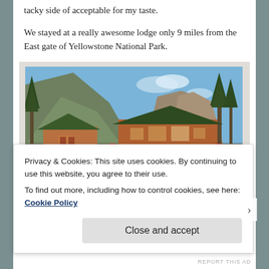tacky side of acceptable for my taste.
We stayed at a really awesome lodge only 9 miles from the East gate of Yellowstone National Park.
[Figure (photo): Outdoor photo of wooden lodge cabins set against a mountain backdrop with tall pine trees and a rocky cliff. A motorcycle is parked in front of the main cabin. Clear blue sky visible.]
Privacy & Cookies: This site uses cookies. By continuing to use this website, you agree to their use.
To find out more, including how to control cookies, see here: Cookie Policy
Close and accept